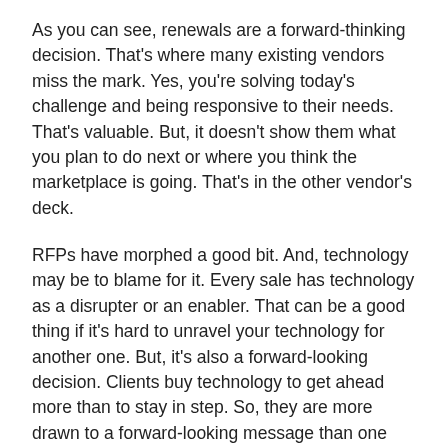As you can see, renewals are a forward-thinking decision. That's where many existing vendors miss the mark. Yes, you're solving today's challenge and being responsive to their needs. That's valuable. But, it doesn't show them what you plan to do next or where you think the marketplace is going. That's in the other vendor's deck.
RFPs have morphed a good bit. And, technology may be to blame for it. Every sale has technology as a disrupter or an enabler. That can be a good thing if it's hard to unravel your technology for another one. But, it's also a forward-looking decision. Clients buy technology to get ahead more than to stay in step. So, they are more drawn to a forward-looking message than one that focuses on what's been accomplished to date.